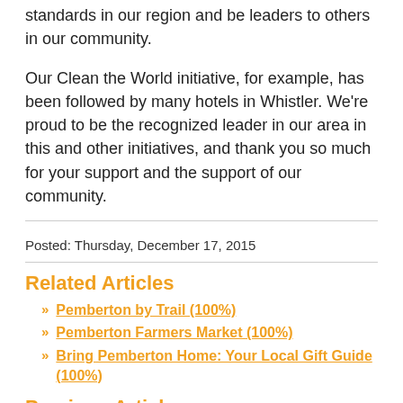standards in our region and be leaders to others in our community.
Our Clean the World initiative, for example, has been followed by many hotels in Whistler. We're proud to be the recognized leader in our area in this and other initiatives, and thank you so much for your support and the support of our community.
Posted: Thursday, December 17, 2015
Related Articles
Pemberton by Trail (100%)
Pemberton Farmers Market (100%)
Bring Pemberton Home: Your Local Gift Guide (100%)
Previous Article